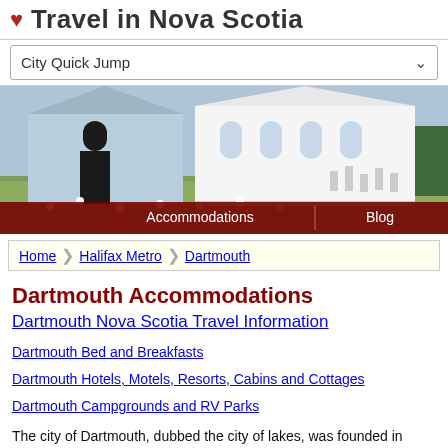Travel in Nova Scotia
City Quick Jump
[Figure (photo): White church building with gothic arched windows set among wildflowers and greenery, with gravestones visible in background. Navigation bar overlay at bottom shows Accommodations and Blog links.]
Home > Halifax Metro > Dartmouth
Dartmouth Accommodations
Dartmouth Nova Scotia Travel Information
Dartmouth Bed and Breakfasts
Dartmouth Hotels, Motels, Resorts, Cabins and Cottages
Dartmouth Campgrounds and RV Parks
The city of Dartmouth, dubbed the city of lakes, was founded in 1750. Dartmouth's first citizens arrived on the ship Alderny, but Halifax city council decided they should settle opposite the Halifax Harbour.  The